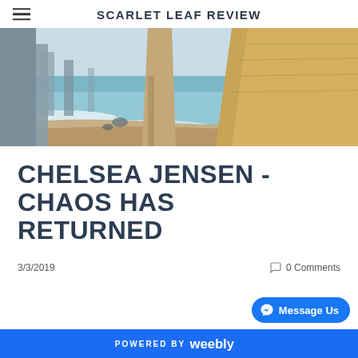SCARLET LEAF REVIEW
[Figure (photo): Coastal scene with tall limestone sea stacks and cliffs along a sandy beach with turquoise waves]
CHELSEA JENSEN - CHAOS HAS RETURNED
3/3/2019
0 Comments
POWERED BY weebly